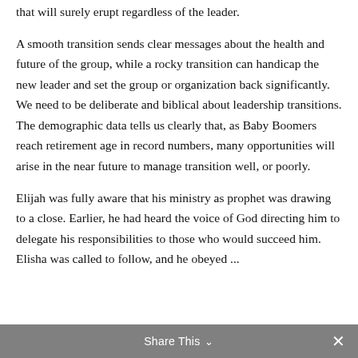that will surely erupt regardless of the leader.
A smooth transition sends clear messages about the health and future of the group, while a rocky transition can handicap the new leader and set the group or organization back significantly. We need to be deliberate and biblical about leadership transitions. The demographic data tells us clearly that, as Baby Boomers reach retirement age in record numbers, many opportunities will arise in the near future to manage transition well, or poorly.
Elijah was fully aware that his ministry as prophet was drawing to a close. Earlier, he had heard the voice of God directing him to delegate his responsibilities to those who would succeed him. Elisha was called to follow, and he obeyed ...
Share This ∨  ✕